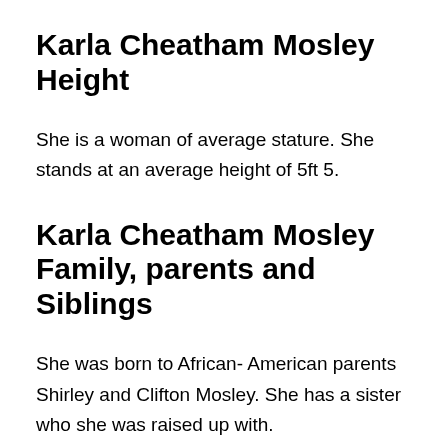Karla Cheatham Mosley Height
She is a woman of average stature. She stands at an average height of 5ft 5.
Karla Cheatham Mosley Family, parents and Siblings
She was born to African- American parents Shirley and Clifton Mosley. She has a sister who she was raised up with.
Karla Cheatham Mosley